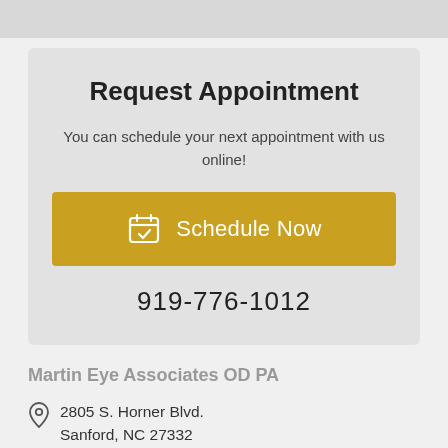Request Appointment
You can schedule your next appointment with us online!
Schedule Now
919-776-1012
Martin Eye Associates OD PA
2805 S. Horner Blvd.
Sanford, NC 27332